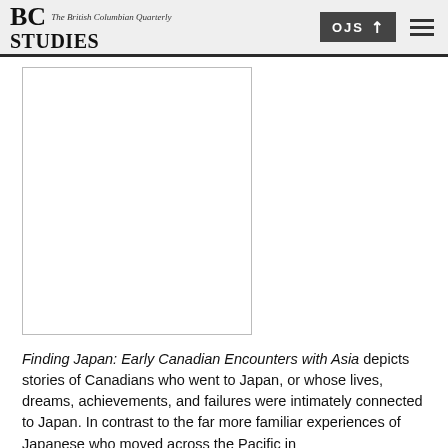BC STUDIES — The British Columbian Quarterly
[Figure (photo): Two white rectangular panels side by side, representing book or article cover images (content not visible).]
Finding Japan: Early Canadian Encounters with Asia depicts stories of Canadians who went to Japan, or whose lives, dreams, achievements, and failures were intimately connected to Japan. In contrast to the far more familiar experiences of Japanese who moved across the Pacific in